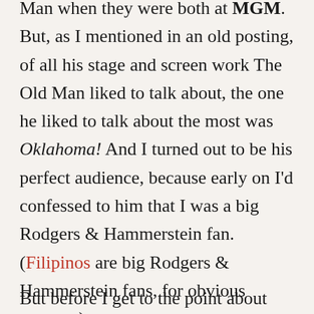Man when they were both at MGM. But, as I mentioned in an old posting, of all his stage and screen work The Old Man liked to talk about, the one he liked to talk about the most was Oklahoma! And I turned out to be his perfect audience, because early on I'd confessed to him that I was a big Rodgers & Hammerstein fan. (Filipinos are big Rodgers & Hammerstein fans, for obvious reasons.)
But before I get to the point about Oklahoma! I